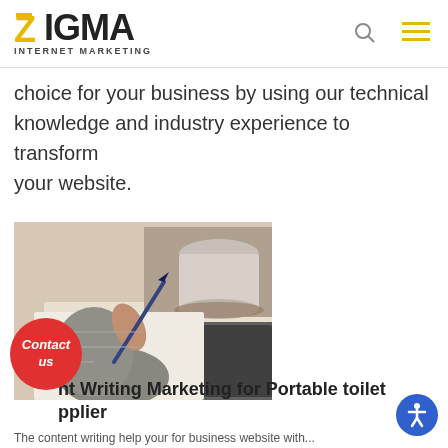ZIGMA INTERNET MARKETING
choice for your business by using our technical knowledge and industry experience to transform your website.
[Figure (photo): Person wearing a grey knitted sweater writing with a pen on paper at a table, with a white coffee cup in the background]
nt Writing Marketing for Portable toilet pplier
The content writing help your for business website with...